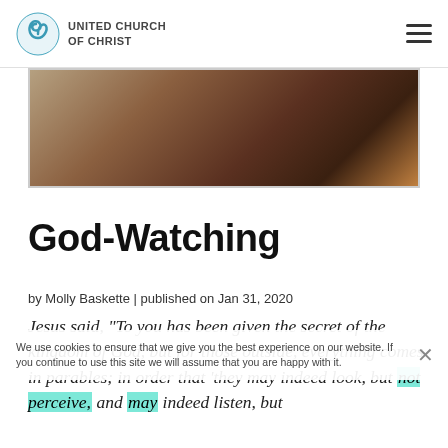UNITED CHURCH OF CHRIST
[Figure (photo): Cropped hero image showing a person, partially visible, with warm brown and gold tones]
God-Watching
by Molly Baskette | published on Jan 31, 2020
Jesus said, “To you has been given the secret of the kingdom of God, but for those outside, everything comes in parables; in order that ‘they may indeed look, but not perceive, and may indeed listen, but
We use cookies to ensure that we give you the best experience on our website. If you continue to use this site we will assume that you are happy with it.